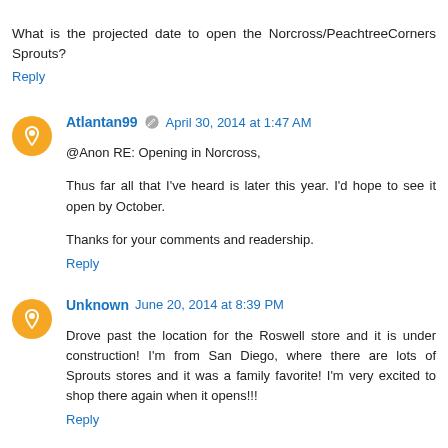What is the projected date to open the Norcross/PeachtreeCorners Sprouts?
Reply
Atlantan99  April 30, 2014 at 1:47 AM
@Anon RE: Opening in Norcross,

Thus far all that I've heard is later this year. I'd hope to see it open by October.

Thanks for your comments and readership.
Reply
Unknown  June 20, 2014 at 8:39 PM
Drove past the location for the Roswell store and it is under construction! I'm from San Diego, where there are lots of Sprouts stores and it was a family favorite! I'm very excited to shop there again when it opens!!!
Reply